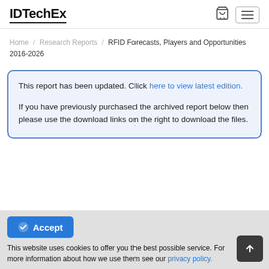IDTechEx
Home / Research Reports / RFID Forecasts, Players and Opportunities 2016-2026
This report has been updated. Click here to view latest edition.

If you have previously purchased the archived report below then please use the download links on the right to download the files.
Accept
This website uses cookies to offer you the best possible service. For more information about how we use them see our privacy policy.